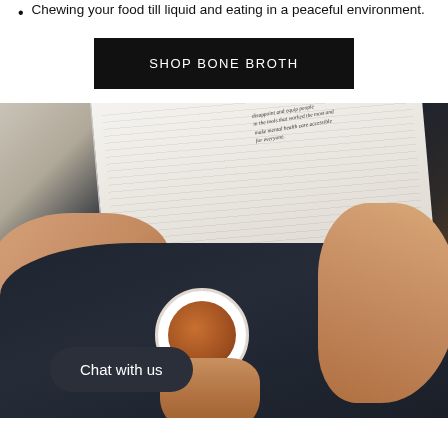Chewing your food till liquid and eating in a peaceful environment.
SHOP BONE BROTH
[Figure (photo): Overhead view of a person relaxing, holding a cup of broth while reading a book. The person is wearing dark clothing and sitting on what appears to be a wooden floor. A 'Chat with us' button overlay appears at the bottom left.]